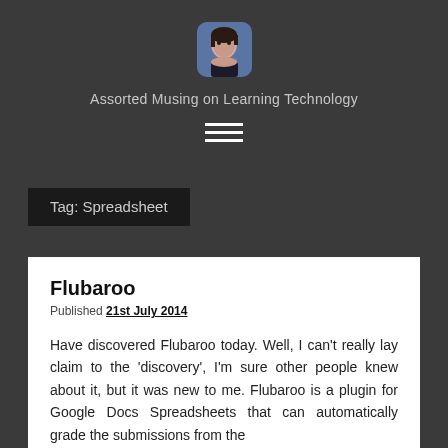[Figure (photo): Rounded square avatar photo of a person, used as blog header image]
Assorted Musing on Learning Technology
[Figure (other): Hamburger menu icon with three horizontal white lines]
Tag: Spreadsheet
Flubaroo
Published 21st July 2014
Have discovered Flubaroo today. Well, I can't really lay claim to the 'discovery', I'm sure other people knew about it, but it was new to me. Flubaroo is a plugin for Google Docs Spreadsheets that can automatically grade the submissions from the